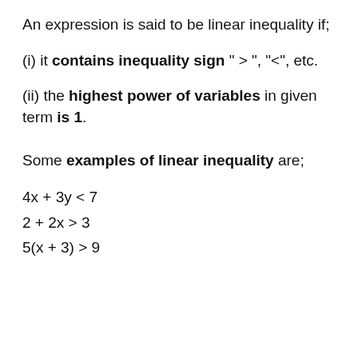An expression is said to be linear inequality if;
(i) it contains inequality sign " > ", "<", etc.
(ii) the highest power of variables in given term is 1.
Some examples of linear inequality are;
4x + 3y < 7
2 + 2x > 3
5(x + 3) > 9